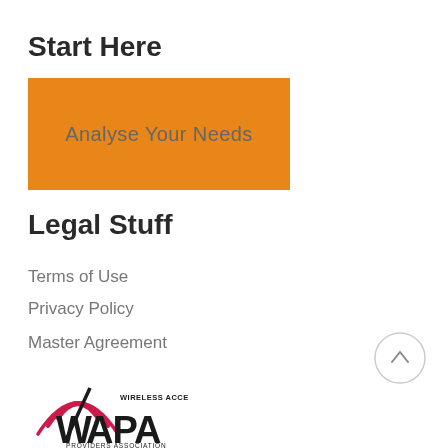Start Here
[Figure (other): Orange button with text 'Analyse Your Needs']
Legal Stuff
Terms of Use
Privacy Policy
Master Agreement
[Figure (logo): WAPA - Wireless Access Providers Association logo with signal arc graphic]
[Figure (other): Circular up-arrow navigation button]